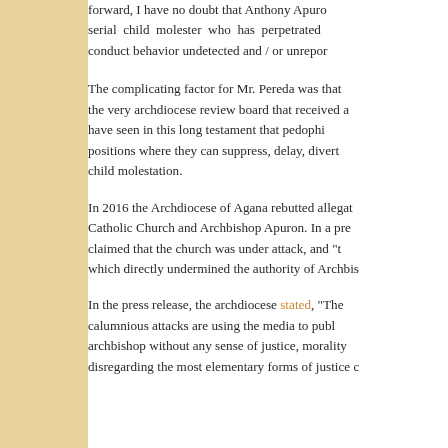forward, I have no doubt that Anthony Apuro serial child molester who has perpetrated conduct behavior undetected and / or unrepor
The complicating factor for Mr. Pereda was that the very archdiocese review board that received a have seen in this long testament that pedophi positions where they can suppress, delay, divert child molestation.
In 2016 the Archdiocese of Agana rebutted allegat Catholic Church and Archbishop Apuron. In a pre claimed that the church was under attack, and "t which directly undermined the authority of Archbis
In the press release, the archdiocese stated, "The calumnious attacks are using the media to publ archbishop without any sense of justice, morality disregarding the most elementary forms of justice c